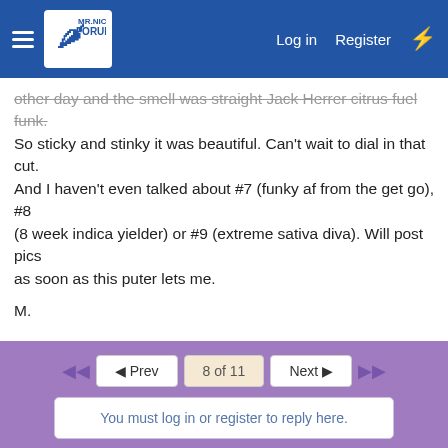Mr. Nice Forum — Log in | Register
other day and the smell was straight Jack Herrer citrus fuel funk. So sticky and stinky it was beautiful. Can't wait to dial in that cut. And I haven't even talked about #7 (funky af from the get go), #8 (8 week indica yielder) or #9 (extreme sativa diva). Will post pics as soon as this puter lets me.

M.
8 of 11 — Prev | Next
You must log in or register to reply here.
Share:
Super Silver Haze
Contact us   Terms and rules   Privacy policy   Help   Home
Forum software by XenForo® © 2010-2020 XenForo Ltd.